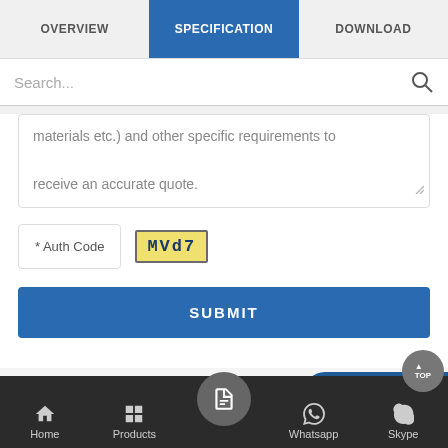OVERVIEW | SPECIFICATION | DOWNLOAD
Search...
materials etc.) and other specific requirements to receive an accurate quote.
* Auth Code  MVd7
SUBMIT
RELATED TAGS :  IOT Current Onlin...
Current Online Monitoring...
[Figure (screenshot): Inquire Now button overlay on bottom right]
Home | Products | (form icon) | Whatsapp | Skype